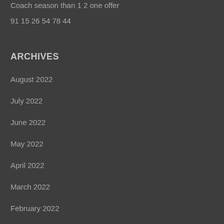Coach season than 1 2 one offer
91 15 26 54 78 44
ARCHIVES
August 2022
July 2022
June 2022
May 2022
April 2022
March 2022
February 2022
January 2022